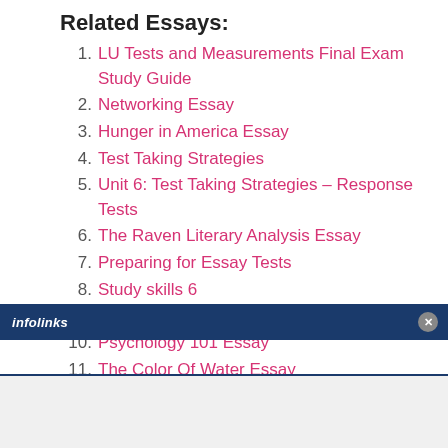Related Essays:
LU Tests and Measurements Final Exam Study Guide
Networking Essay
Hunger in America Essay
Test Taking Strategies
Unit 6: Test Taking Strategies – Response Tests
The Raven Literary Analysis Essay
Preparing for Essay Tests
Study skills 6
Teamwork Esasy
Psychology 101 Essay
The Color Of Water Essay
infolinks